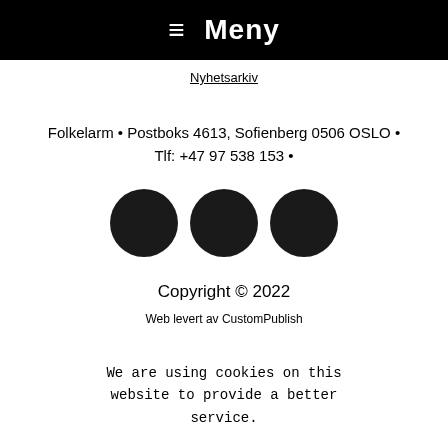≡ Meny
Nyhetsarkiv
Folkelarm • Postboks 4613, Sofienberg 0506 OSLO • Tlf: +47 97 538 153 •
[Figure (illustration): Three black circles side by side representing social media or navigation icons]
Copyright © 2022
Web levert av CustomPublish
We are using cookies on this website to provide a better service.